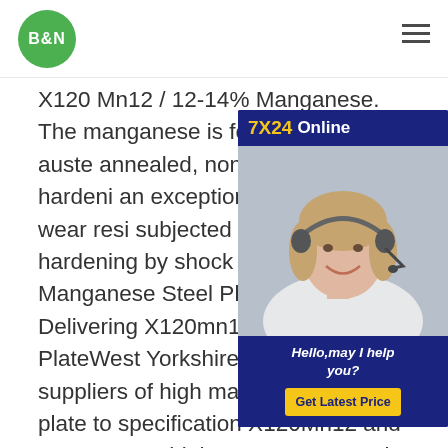B&N [logo] [hamburger menu]
[Figure (infographic): Advertisement sidebar: '7X24 Online' header in yellow and white on dark blue background, photo of smiling woman with headset, 'Hello, may I help you?' text, and a yellow 'Get Latest Price' button on dark blue background.]
X120 Mn12 / 12-14% Manganese. The manganese is featured with fully austenannealed, non-magnetic, work-hardeni an exceptionally high level of wear ressubjected to work-hardening by shock pressure in Manganese Steel Plate - W Steel, Delivering X120mn12 High Man PlateWest Yorkshire Steel are suppliers of high manganese steel plate to specification X120Mn12 and 1.3401. As a high manganese steel grade it offers excellent work hardening properties. High manganese steel plate becomes increasingly hard when the surfaces of components are subject to